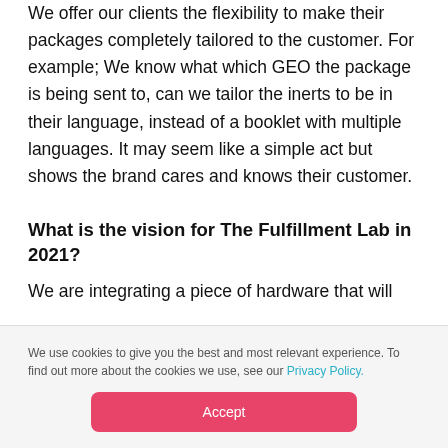We offer our clients the flexibility to make their packages completely tailored to the customer. For example; We know what which GEO the package is being sent to, can we tailor the inerts to be in their language, instead of a booklet with multiple languages. It may seem like a simple act but shows the brand cares and knows their customer.
What is the vision for The Fulfillment Lab in 2021?
We are integrating a piece of hardware that will
We use cookies to give you the best and most relevant experience. To find out more about the cookies we use, see our Privacy Policy.